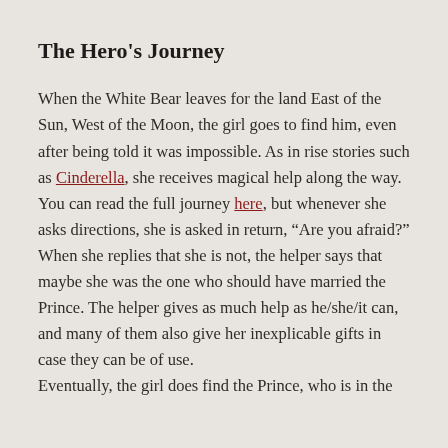The Hero's Journey
When the White Bear leaves for the land East of the Sun, West of the Moon, the girl goes to find him, even after being told it was impossible. As in rise stories such as Cinderella, she receives magical help along the way.  You can read the full journey here, but whenever she asks directions, she is asked in return, “Are you afraid?” When she replies that she is not, the helper says that maybe she was the one who should have married the Prince. The helper gives as much help as he/she/it can, and many of them also give her inexplicable gifts in case they can be of use.
Eventually, the girl does find the Prince, who is in the